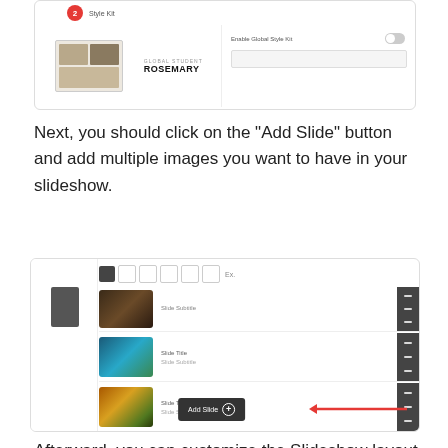[Figure (screenshot): Screenshot of a Style Kit panel showing ROSEMARY kit with a thumbnail image and a toggle option for 'Enable Global Style Kit']
Next, you should click on the "Add Slide" button and add multiple images you want to have in your slideshow.
[Figure (screenshot): Screenshot of a slideshow editor with three slide rows each containing a landscape thumbnail and labels, a toolbar at top, and an 'Add Slide' button at the bottom with a red arrow pointing to it]
Afterward, you can customize the Slideshow layout